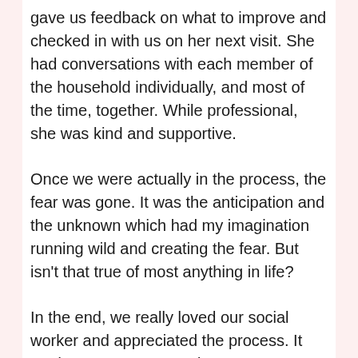gave us feedback on what to improve and checked in with us on her next visit. She had conversations with each member of the household individually, and most of the time, together. While professional, she was kind and supportive.
Once we were actually in the process, the fear was gone. It was the anticipation and the unknown which had my imagination running wild and creating the fear. But isn't that true of most anything in life?
In the end, we really loved our social worker and appreciated the process. It made us more prepared as parents. When you are considering fostering or adopting, know that